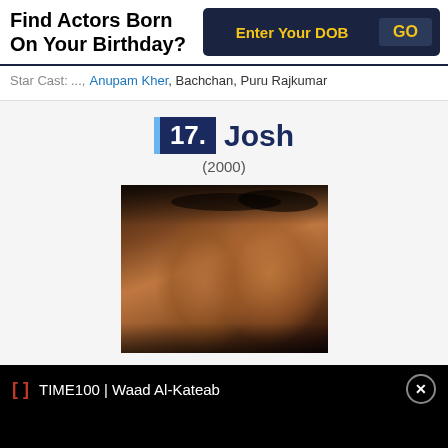Find Actors Born On Your Birthday?
Enter Your DOB
GO
Star Cast: (partly cut off) Anupam Kher, Bachchan, Puru Rajkumar
17. Josh (2000)
[Figure (photo): Movie poster or still from Josh (2000) showing two male actors' faces in close-up, dark cinematic lighting]
TIME100 | Waad Al-Kateab